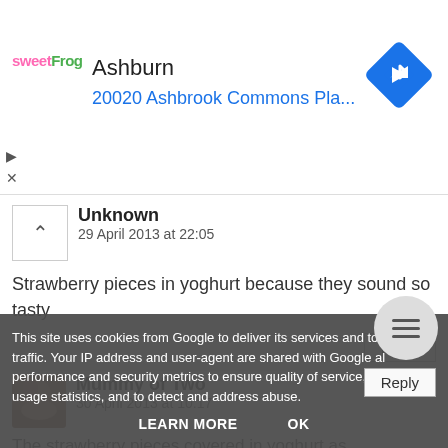[Figure (screenshot): Ad banner for sweetFrog showing 'Ashburn' title and '20020 Ashbrook Commons Pla...' address with navigation icon]
Unknown
29 April 2013 at 22:05
Strawberry pieces in yoghurt because they sound so tasty
Reply
Mummy of Two
30 April 2013 at 10:17
The strawberry pieces covered in yoghurt as
This site uses cookies from Google to deliver its services and to analyze traffic. Your IP address and user-agent are shared with Google along with performance and security metrics to ensure quality of service, generate usage statistics, and to detect and address abuse.
LEARN MORE   OK
Reply